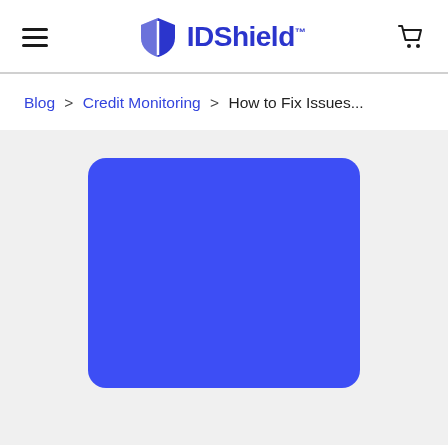IDShield
Blog > Credit Monitoring > How to Fix Issues...
[Figure (illustration): Blue rounded rectangle card image on a light gray background, partially cropped at bottom]